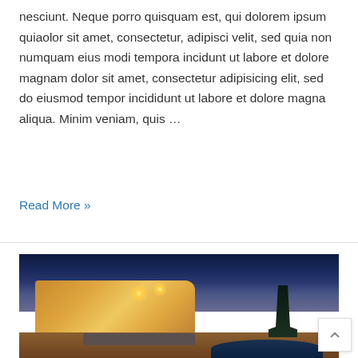nesciunt. Neque porro quisquam est, qui dolorem ipsum quiaolor sit amet, consectetur, adipisci velit, sed quia non numquam eius modi tempora incidunt ut labore et dolore magnam dolor sit amet, consectetur adipisicing elit, sed do eiusmod tempor incididunt ut labore et dolore magna aliqua. Minim veniam, quis …
Read More »
[Figure (photo): Night-time exterior photo of a luxury villa with warm glowing lights, lounge chairs by a pool, palm trees, and a dramatic cloudy sky]